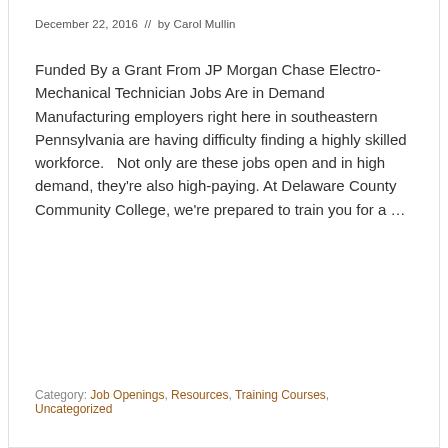December 22, 2016  //  by Carol Mullin
Funded By a Grant From JP Morgan Chase Electro-Mechanical Technician Jobs Are in Demand Manufacturing employers right here in southeastern Pennsylvania are having difficulty finding a highly skilled workforce.   Not only are these jobs open and in high demand, they're also high-paying. At Delaware County Community College, we're prepared to train you for a …
Read More
Category: Job Openings, Resources, Training Courses, Uncategorized